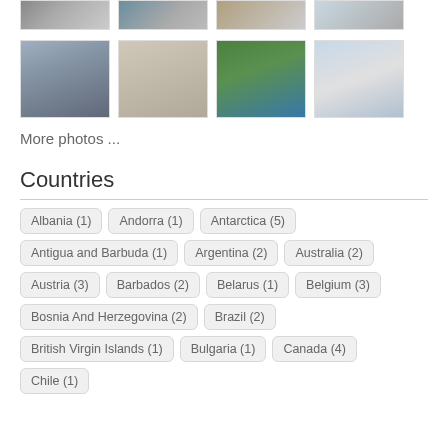[Figure (photo): Top row of 4 thumbnail photos of travel destinations]
[Figure (photo): Second row of 4 thumbnail photos showing castle, sculpture square, coastal cliffside, and seaside town]
More photos ...
Countries
Albania (1)
Andorra (1)
Antarctica (5)
Antigua and Barbuda (1)
Argentina (2)
Australia (2)
Austria (3)
Barbados (2)
Belarus (1)
Belgium (3)
Bosnia And Herzegovina (2)
Brazil (2)
British Virgin Islands (1)
Bulgaria (1)
Canada (4)
Chile (1)